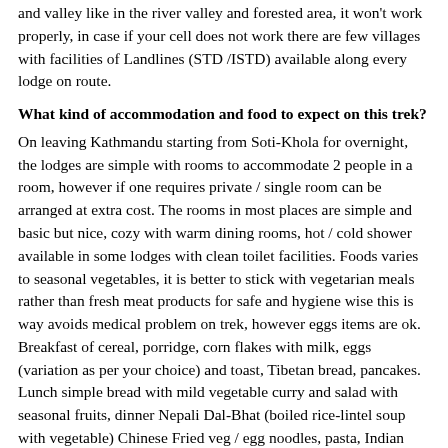and valley like in the river valley and forested area, it won't work properly, in case if your cell does not work there are few villages with facilities of Landlines (STD /ISTD) available along every lodge on route.
What kind of accommodation and food to expect on this trek?
On leaving Kathmandu starting from Soti-Khola for overnight, the lodges are simple with rooms to accommodate 2 people in a room, however if one requires private / single room can be arranged at extra cost. The rooms in most places are simple and basic but nice, cozy with warm dining rooms, hot / cold shower available in some lodges with clean toilet facilities. Foods varies to seasonal vegetables, it is better to stick with vegetarian meals rather than fresh meat products for safe and hygiene wise this is way avoids medical problem on trek, however eggs items are ok. Breakfast of cereal, porridge, corn flakes with milk, eggs (variation as per your choice) and toast, Tibetan bread, pancakes. Lunch simple bread with mild vegetable curry and salad with seasonal fruits, dinner Nepali Dal-Bhat (boiled rice-lintel soup with vegetable) Chinese Fried veg / egg noodles, pasta, Indian Pilau rice, chappati (bread) for birthday and anniversary please let us know in advance so that we can order the lodge to bake cakes on special request.